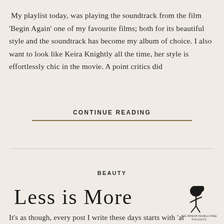My playlist today, was playing the soundtrack from the film 'Begin Again' one of my favourite films; both for its beautiful style and the soundtrack has become my album of choice. I also want to look like Keira Knightly all the time, her style is effortlessly chic in the movie. A point critics did
CONTINUE READING
BEAUTY
Less is More
[Figure (illustration): Small logo illustration of a figure with a round head and flowing hair, with small text beneath reading 'THE IRRESPONSIBLE FREE THOUGHTS']
It's as though, every post I write these days starts with 'at